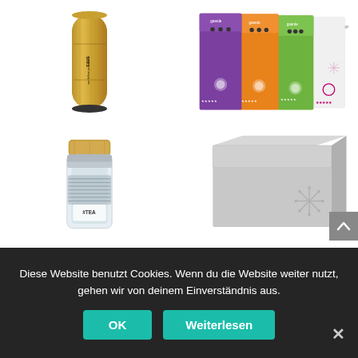[Figure (photo): Bamboo thermos bottle with text 'SAVS we follow your pace' rotated vertically]
[Figure (photo): Four colorful tea boxes: Herbal Tea (purple), Herbal Tea (orange), Refresh Tea (green), Fruit Tea (pink/white) with snowflake design]
[Figure (photo): Glass double-wall jar/bottle with bamboo lid and #TEA label]
[Figure (photo): Grey gift box with snowflake decoration]
Diese Website benutzt Cookies. Wenn du die Website weiter nutzt, gehen wir von deinem Einverständnis aus.
OK
Weiterlesen